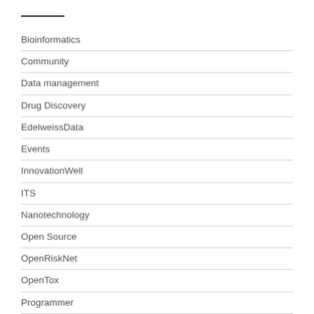Bioinformatics
Community
Data management
Drug Discovery
EdelweissData
Events
InnovationWell
ITS
Nanotechnology
Open Source
OpenRiskNet
OpenTox
Programmer